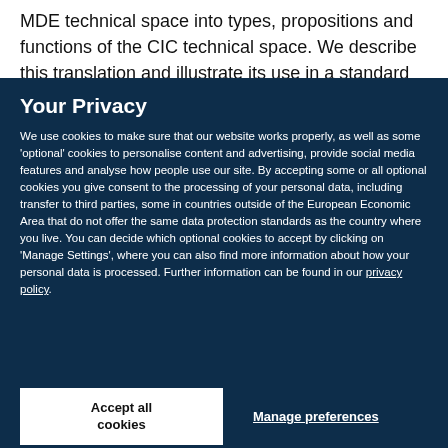MDE technical space into types, propositions and functions of the CIC technical space. We describe this translation and illustrate its use in a standard
Your Privacy
We use cookies to make sure that our website works properly, as well as some ‘optional’ cookies to personalise content and advertising, provide social media features and analyse how people use our site. By accepting some or all optional cookies you give consent to the processing of your personal data, including transfer to third parties, some in countries outside of the European Economic Area that do not offer the same data protection standards as the country where you live. You can decide which optional cookies to accept by clicking on ‘Manage Settings’, where you can also find more information about how your personal data is processed. Further information can be found in our privacy policy.
Accept all cookies
Manage preferences